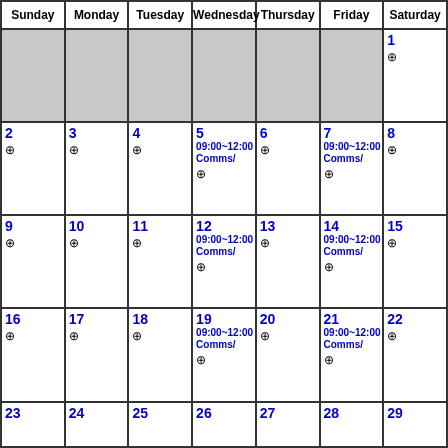| Sunday | Monday | Tuesday | Wednesday | Thursday | Friday | Saturday |
| --- | --- | --- | --- | --- | --- | --- |
| (gray) | (gray) | (gray) | (gray) | (gray) | (gray) | 1 ⊕ |
| 2 ⊕ | 3 ⊕ | 4 ⊕ | 5
09:00~12:00
Comms/ ⊕ | 6 ⊕ | 7
09:00~12:00
Comms/ ⊕ | 8 ⊕ |
| 9 ⊕ | 10 ⊕ | 11 ⊕ | 12
09:00~12:00
Comms/ ⊕ | 13 ⊕ | 14
09:00~12:00
Comms/ ⊕ | 15 ⊕ |
| 16 ⊕ | 17 ⊕ | 18 ⊕ | 19
09:00~12:00
Comms/ ⊕ | 20 ⊕ | 21
09:00~12:00
Comms/ ⊕ | 22 ⊕ |
| 23 | 24 | 25 | 26 | 27 | 28 | 29 |